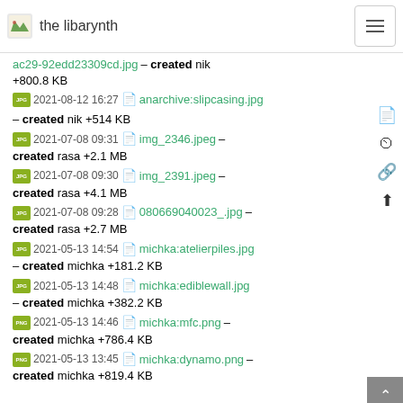the libarynth
ac29-92edd23309cd.jpg – created nik +800.8 KB
2021-08-12 16:27   anarchive:slipcasing.jpg – created nik +514 KB
2021-07-08 09:31   img_2346.jpeg – created rasa +2.1 MB
2021-07-08 09:30   img_2391.jpeg – created rasa +4.1 MB
2021-07-08 09:28   080669040023_.jpg – created rasa +2.7 MB
2021-05-13 14:54   michka:atelierpiles.jpg – created michka +181.2 KB
2021-05-13 14:48   michka:ediblewall.jpg – created michka +382.2 KB
2021-05-13 14:46   michka:mfc.png – created michka +786.4 KB
2021-05-13 13:45   michka:dynamo.png – created michka +819.4 KB